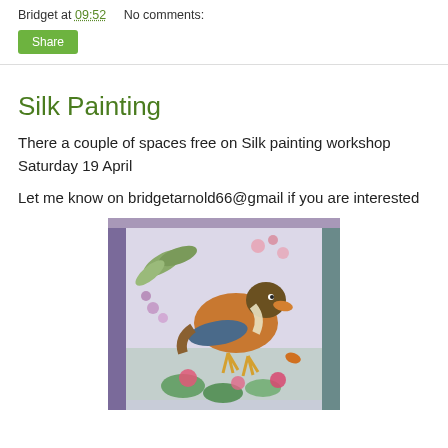Bridget at 09:52    No comments:
Share
Silk Painting
There a couple of spaces free on Silk painting workshop Saturday 19 April
Let me know on bridgetarnold66@gmail if you are interested
[Figure (photo): A silk painting of a mandarin duck surrounded by flowers, water lilies, and green leaves on a pale lavender/blue background.]